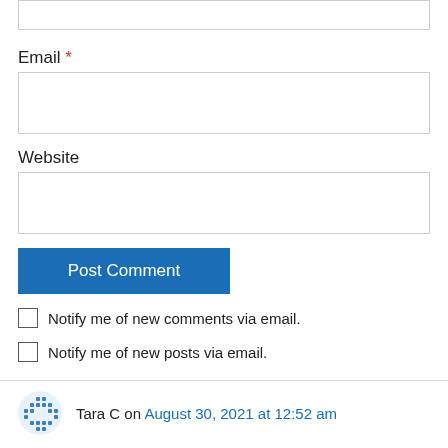[Figure (screenshot): Partial top input box (cropped at top of page)]
Email *
[Figure (screenshot): Email input text field, empty]
Website
[Figure (screenshot): Website input text field, empty]
Post Comment (button)
Notify me of new comments via email.
Notify me of new posts via email.
Tara C on August 30, 2021 at 12:52 am